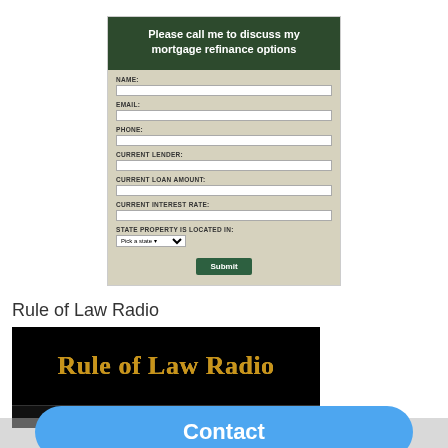[Figure (screenshot): Mortgage refinance contact form with dark green header reading 'Please call me to discuss my mortgage refinance options', fields for Name, Email, Phone, Current Lender, Current Loan Amount, Current Interest Rate, State Property is Located In (dropdown), and a Submit button on a beige/tan background]
Rule of Law Radio
[Figure (screenshot): Black banner with gold text reading 'Rule of Law Radio' and a blue Contact button overlay at the bottom, partial text 'Deborah Stevens' visible at the very bottom]